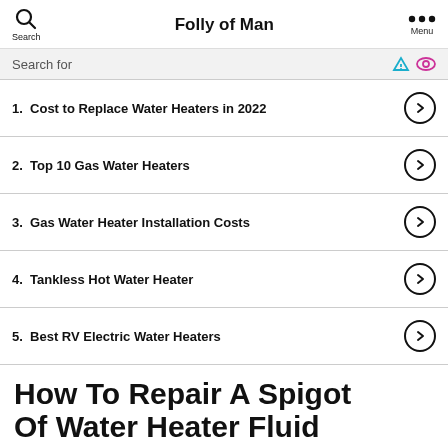Search | Folly of Man | Menu
Search for
1.  Cost to Replace Water Heaters in 2022
2.  Top 10 Gas Water Heaters
3.  Gas Water Heater Installation Costs
4.  Tankless Hot Water Heater
5.  Best RV Electric Water Heaters
How To Repair A Spigot Of Water Heater Fluid